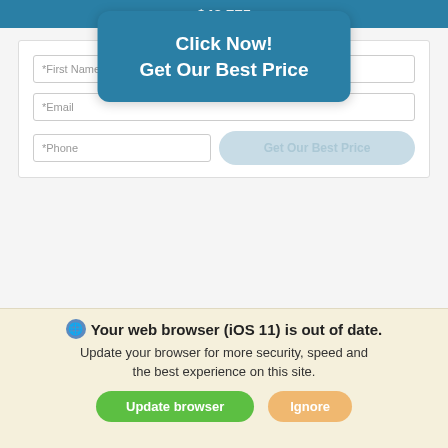$43,775
[Figure (screenshot): Web form with First Name, Last Name, Email, Phone fields and a 'Click Now! Get Our Best Price' button overlay, plus a ghost 'Get Our Best Price' button]
MOSS BROS. CHRYSLER DODGE JEEP RAM RIVERSIDE
[Figure (photo): Faded/light silhouette of an SUV vehicle (Jeep or similar) on white background]
We use cookies to optimize our website and our service.
Cookie Policy · Privacy Statement
Your web browser (iOS 11) is out of date. Update your browser for more security, speed and the best experience on this site.
Update browser
Ignore